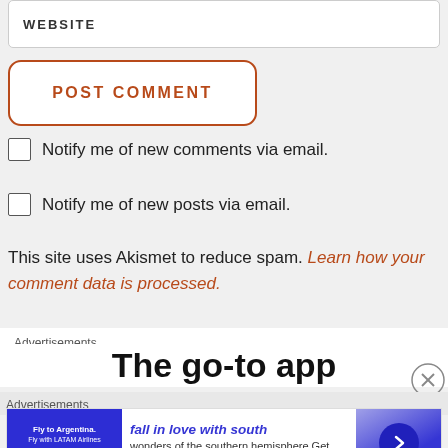WEBSITE
POST COMMENT
Notify me of new comments via email.
Notify me of new posts via email.
This site uses Akismet to reduce spam. Learn how your comment data is processed.
Advertisements
The go-to app
Advertisements
[Figure (screenshot): Advertisement banner for LATAM Airlines with text 'fall in love with south' and 'wonders of the southern hemisphere. Get inspired and fly' with a blue arrow button]